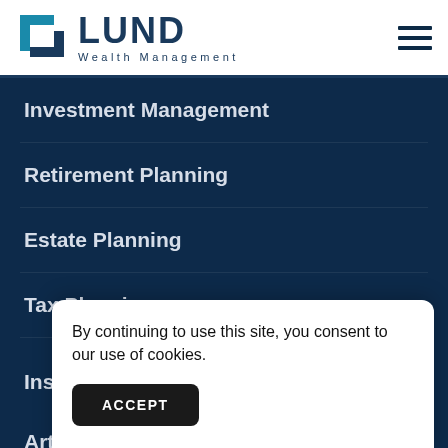[Figure (logo): Lund Wealth Management logo with stylized L icon in teal/blue and company name in dark navy]
Investment Management
Retirement Planning
Estate Planning
Tax Planning
Insights
Articles
By continuing to use this site, you consent to our use of cookies.